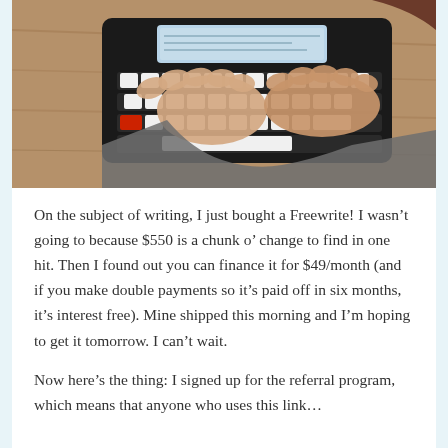[Figure (photo): Person typing on a Freewrite (a modern electronic typewriter with white keys and a small screen), viewed from above, hands on keyboard, on a wooden desk surface. Person wearing a grey sweater.]
On the subject of writing, I just bought a Freewrite! I wasn't going to because $550 is a chunk o' change to find in one hit. Then I found out you can finance it for $49/month (and if you make double payments so it's paid off in six months, it's interest free). Mine shipped this morning and I'm hoping to get it tomorrow. I can't wait.
Now here's the thing: I signed up for the referral program, which means that anyone who uses this link…